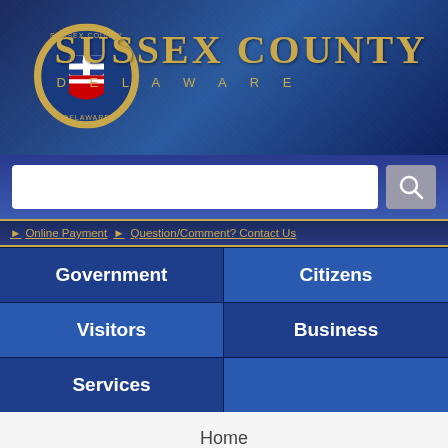[Figure (screenshot): Sussex County Delaware government website header with official seal and gold text logo]
[Figure (screenshot): Search bar with magnifying glass button]
▶ Online Payment ▶ Question/Comment? Contact Us
Government
Citizens
Visitors
Business
Services
Home
Advisory Committee on Aging and Adults with Physical Disabilities
Airport Advisory Committee
Board of Adjustment
Board of Adjustments and Appeals